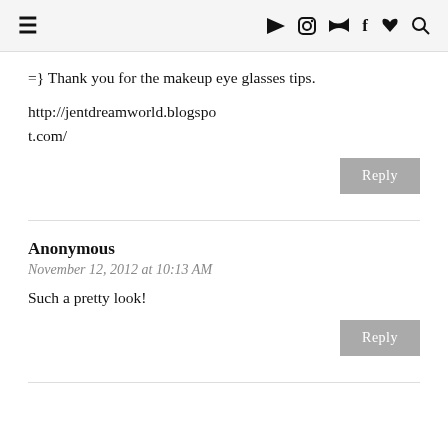≡ ▶ 📷 🐦 f ♥ 🔍
=} Thank you for the makeup eye glasses tips.
http://jentdreamworld.blogspot.com/
Reply
Anonymous
November 12, 2012 at 10:13 AM
Such a pretty look!
Reply